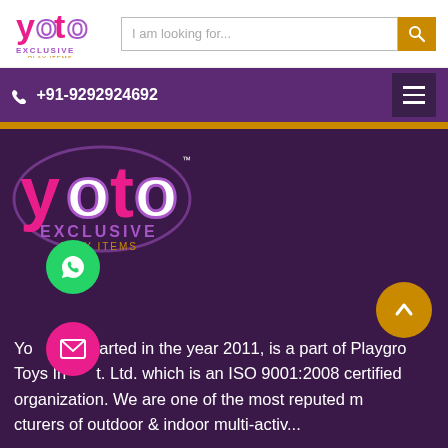[Figure (logo): Yoto Exclusive Play Items logo in header]
I am looking for...
☎ +91-9292924692
[Figure (logo): Yoto Exclusive Play Items large logo on purple background]
Yoto started in the year 2011, is a part of Playgro Toys Induct. Ltd. which is an ISO 9001:2008 certified organization. We are one of the most reputed manufacturers of outdoor & indoor multi-activ...